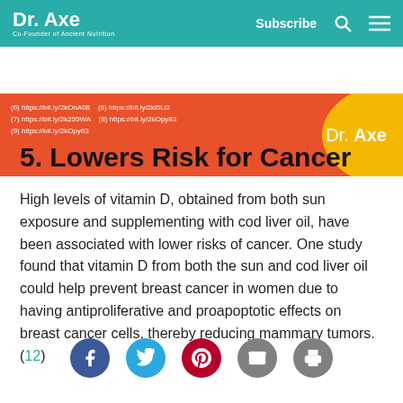Dr. Axe — Co-Founder of Ancient Nutrition | Subscribe
[Figure (other): Orange banner with references list (URLs) and yellow ellipse with Dr. Axe branding on the right]
5. Lowers Risk for Cancer
High levels of vitamin D, obtained from both sun exposure and supplementing with cod liver oil, have been associated with lower risks of cancer. One study found that vitamin D from both the sun and cod liver oil could help prevent breast cancer in women due to having antiproliferative and proapoptotic effects on breast cancer cells, thereby reducing mammary tumors. (12)
[Figure (other): Social sharing icon buttons row: Facebook, Twitter, Pinterest, Email, Print]